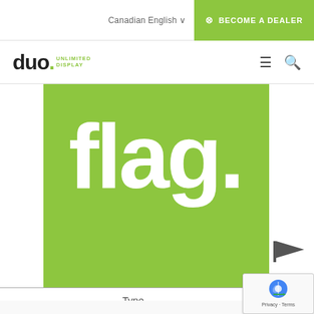Canadian English | BECOME A DEALER
[Figure (logo): duo. UNLIMITED DISPLAY logo with hamburger menu and search icons]
[Figure (illustration): Green square banner with large white text reading 'flag.' on green background, with a small grey flag icon to the right]
| Type | S |
| --- | --- |
|  | T |